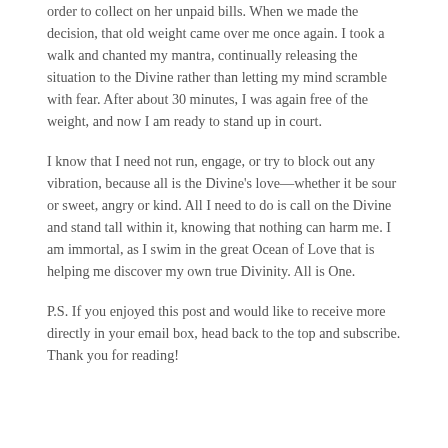order to collect on her unpaid bills. When we made the decision, that old weight came over me once again. I took a walk and chanted my mantra, continually releasing the situation to the Divine rather than letting my mind scramble with fear. After about 30 minutes, I was again free of the weight, and now I am ready to stand up in court.
I know that I need not run, engage, or try to block out any vibration, because all is the Divine's love—whether it be sour or sweet, angry or kind. All I need to do is call on the Divine and stand tall within it, knowing that nothing can harm me. I am immortal, as I swim in the great Ocean of Love that is helping me discover my own true Divinity. All is One.
P.S. If you enjoyed this post and would like to receive more directly in your email box, head back to the top and subscribe. Thank you for reading!